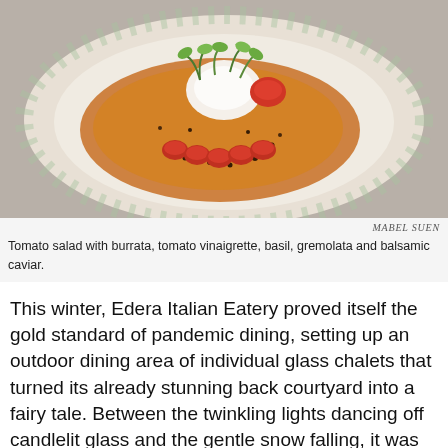[Figure (photo): Food photography: a decorative plate with tomato salad, burrata, tomato vinaigrette, basil, gremolata and balsamic caviar on an orange/golden sauce, garnished with micro greens.]
MABEL SUEN
Tomato salad with burrata, tomato vinaigrette, basil, gremolata and balsamic caviar.
This winter, Edera Italian Eatery proved itself the gold standard of pandemic dining, setting up an outdoor dining area of individual glass chalets that turned its already stunning back courtyard into a fairy tale. Between the twinkling lights dancing off candlelit glass and the gentle snow falling, it was an absolute dreamland that had diners clamoring for a chance to partake in such a lovely experience.